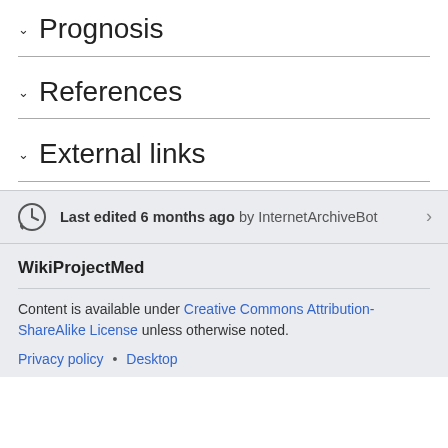Prognosis
References
External links
Last edited 6 months ago by InternetArchiveBot
WikiProjectMed
Content is available under Creative Commons Attribution-ShareAlike License unless otherwise noted.
Privacy policy • Desktop